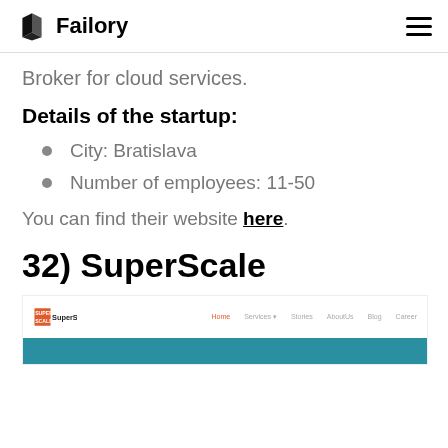Failory
Broker for cloud services.
Details of the startup:
City: Bratislava
Number of employees: 11-50
You can find their website here.
32) SuperScale
[Figure (screenshot): Screenshot of SuperScale website showing logo and teal hero section]